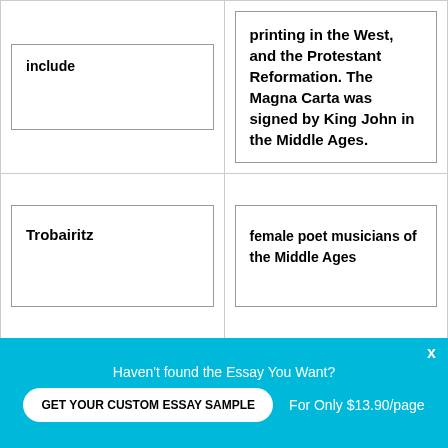| include | printing in the West, and the Protestant Reformation. The Magna Carta was signed by King John in the Middle Ages. |
| Trobairitz | female poet musicians of the Middle Ages |
| Renaissance artists | Leonardo, Michelangelo, |
Haven't found the Essay You Want?
GET YOUR CUSTOM ESSAY SAMPLE
For Only $13.90/page
x